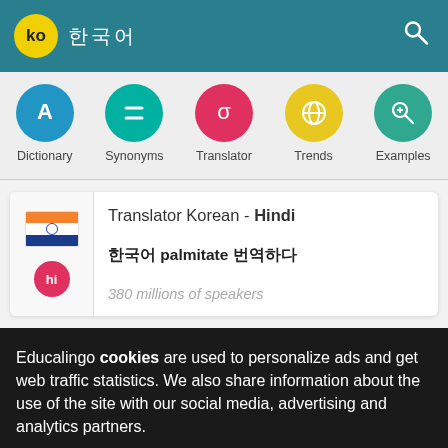ko 코리아 (search icon)
[Figure (screenshot): Navigation bar with five circular icons: Dictionary (blue, letter A), Synonyms (teal, equals sign), Translator (red, sigma), Trends (yellow, globe), Examples (teal, magnifier)]
Translator Korean - Hindi
한국어 palmitate 번역하다
380 millions of speakers
Educalingo cookies are used to personalize ads and get web traffic statistics. We also share information about the use of the site with our social media, advertising and analytics partners.
View details   Got it